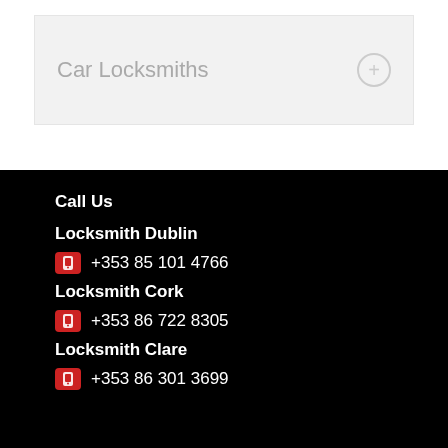Car Locksmiths
Call Us
Locksmith Dublin
+353 85 101 4766
Locksmith Cork
+353 86 722 8305
Locksmith Clare
+353 86 301 3699